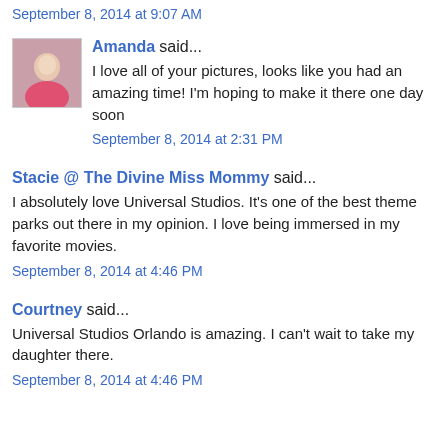September 8, 2014 at 9:07 AM
Amanda said...
I love all of your pictures, looks like you had an amazing time! I'm hoping to make it there one day soon
September 8, 2014 at 2:31 PM
Stacie @ The Divine Miss Mommy said...
I absolutely love Universal Studios. It's one of the best theme parks out there in my opinion. I love being immersed in my favorite movies.
September 8, 2014 at 4:46 PM
Courtney said...
Universal Studios Orlando is amazing. I can't wait to take my daughter there.
September 8, 2014 at 4:46 PM